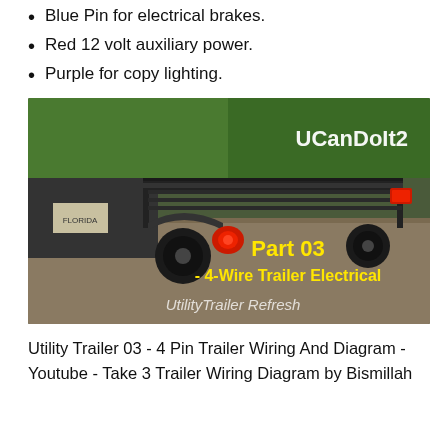Blue Pin for electrical brakes.
Red 12 volt auxiliary power.
Purple for copy lighting.
[Figure (photo): Photo thumbnail from YouTube video titled 'UCanDoIt2 - Part 03 - 4-Wire Trailer Electrical - Utility Trailer Refresh' showing a utility trailer frame hooked to a vehicle, with red tail lights visible.]
Utility Trailer 03 - 4 Pin Trailer Wiring And Diagram - Youtube - Take 3 Trailer Wiring Diagram by Bismillah